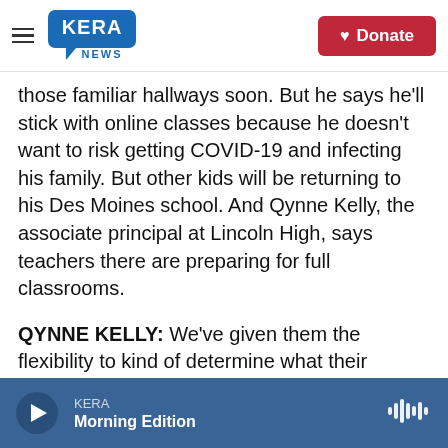KERA NEWS | Donate
those familiar hallways soon. But he says he'll stick with online classes because he doesn't want to risk getting COVID-19 and infecting his family. But other kids will be returning to his Des Moines school. And Qynne Kelly, the associate principal at Lincoln High, says teachers there are preparing for full classrooms.
QYNNE KELLY: We've given them the flexibility to kind of determine what their spaces look like. You know, do they want to do rows, kind of distance groups? It really depends on what classroom they're in and the size of the roster and the class roster. But essentially in most of our classes now
KERA | Morning Edition